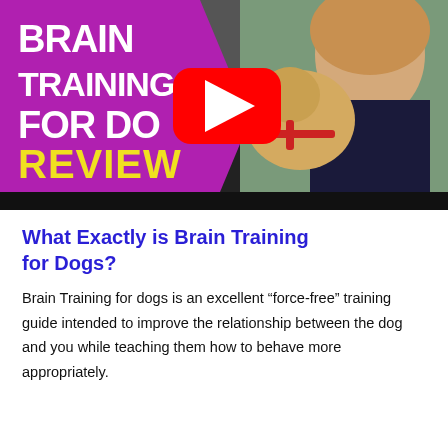[Figure (screenshot): YouTube video thumbnail for 'Brain Training for Dogs Review' showing a woman with a golden retriever on a purple background with the text BRAIN TRAINING FOR DOGS in white and REVIEW in yellow, with a YouTube play button overlay.]
What Exactly is Brain Training for Dogs?
Brain Training for dogs is an excellent “force-free” training guide intended to improve the relationship between the dog and you while teaching them how to behave more appropriately.